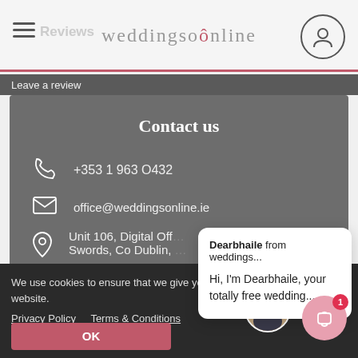weddingsonline
Leave a review
Contact us
+353 1 963 0432
office@weddingsonline.ie
Unit 106, Digital Off... Swords, Co Dublin,
Dearbhaile from weddings...
Hi, I'm Dearbhaile, your totally free wedding...
We use cookies to ensure that we give you the best experience on our website.
Privacy Policy   Terms & Conditions
OK